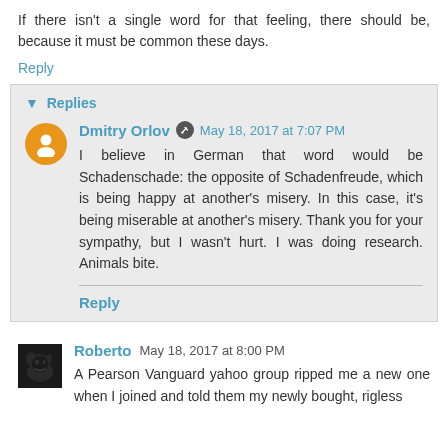If there isn't a single word for that feeling, there should be, because it must be common these days.
Reply
▾ Replies
Dmitry Orlov  May 18, 2017 at 7:07 PM
I believe in German that word would be Schadenschade: the opposite of Schadenfreude, which is being happy at another's misery. In this case, it's being miserable at another's misery. Thank you for your sympathy, but I wasn't hurt. I was doing research. Animals bite.
Reply
Roberto  May 18, 2017 at 8:00 PM
A Pearson Vanguard yahoo group ripped me a new one when I joined and told them my newly bought, rigless